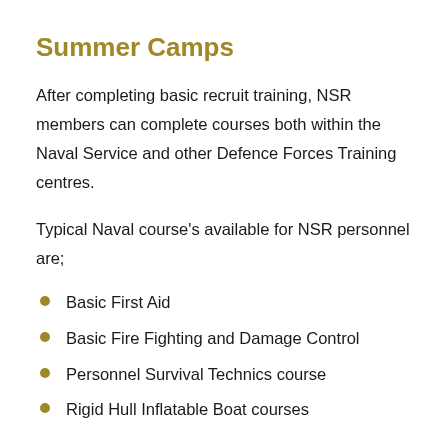Summer Camps
After completing basic recruit training, NSR members can complete courses both within the Naval Service and other Defence Forces Training centres.
Typical Naval course's available for NSR personnel are;
Basic First Aid
Basic Fire Fighting and Damage Control
Personnel Survival Technics course
Rigid Hull Inflatable Boat courses